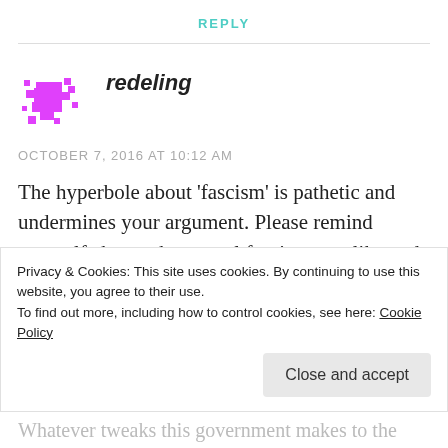REPLY
[Figure (illustration): Pixelated magenta/pink avatar icon for user redeling]
redeling
OCTOBER 7, 2016 AT 10:12 AM
The hyperbole about 'fascism' is pathetic and undermines your argument. Please remind yourself about what actual fascism was like and then ask yourself whether life in Britain today
Privacy & Cookies: This site uses cookies. By continuing to use this website, you agree to their use.
To find out more, including how to control cookies, see here: Cookie Policy
Close and accept
Whatever tweaks this government makes to the